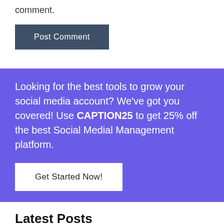comment.
Post Comment
Looking for the best tools to grow your social media account? We've got you covered! Use CAPTION25 to get 25% off the best Social Medial Management platform.
Get Started Now!
Latest Posts